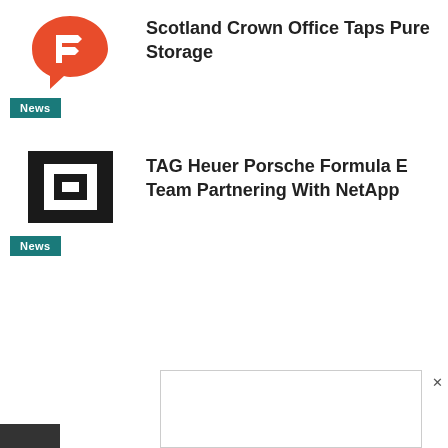[Figure (logo): Red abstract hexagon/bracket logo with teal News badge]
Scotland Crown Office Taps Pure Storage
[Figure (logo): Black square NetApp-style logo with teal News badge]
TAG Heuer Porsche Formula E Team Partnering With NetApp